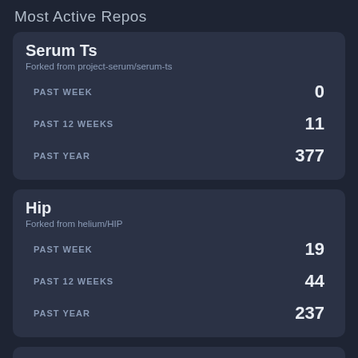Most Active Repos
|  | Serum Ts | Forked from project-serum/serum-ts |
| --- | --- | --- |
| PAST WEEK | 0 |
| PAST 12 WEEKS | 11 |
| PAST YEAR | 377 |
|  | Hip | Forked from helium/HIP |
| --- | --- | --- |
| PAST WEEK | 19 |
| PAST 12 WEEKS | 44 |
| PAST YEAR | 237 |
Spl Token Wallet